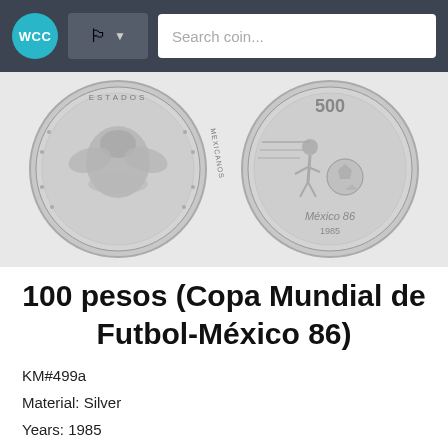WCC [flag dropdown] Search coin...
[Figure (photo): Two sides of a Mexican 100 pesos coin. Left side shows the obverse with Mexican eagle coat of arms and text ESTADOS UNIDOS MEXICANOS. Right side shows the reverse with a soccer player, ball, and text Mexico 86, 1985.]
100 pesos (Copa Mundial de Futbol-México 86)
KM#499a
Material: Silver
Years: 1985
¡Buy on Ebay!